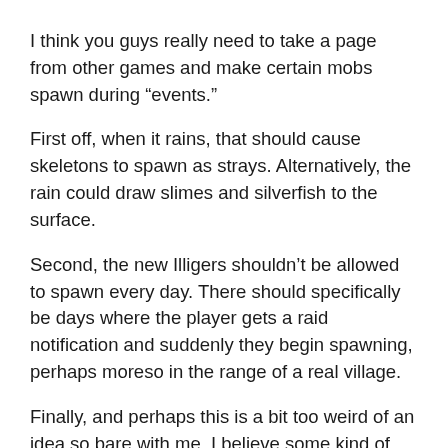I think you guys really need to take a page from other games and make certain mobs spawn during "events."
First off, when it rains, that should cause skeletons to spawn as strays. Alternatively, the rain could draw slimes and silverfish to the surface.
Second, the new Illigers shouldn't be allowed to spawn every day. There should specifically be days where the player gets a raid notification and suddenly they begin spawning, perhaps moreso in the range of a real village.
Finally, and perhaps this is a bit too weird of an idea so bare with me, I believe some kind of "ender invasion" event would be neat. Greatly increase Enderman spawnrates, make Endermites spawn regularly in the world, and maybe summon some kind of "ender pillar" structure in a random place that the player hasn't been building in. Maybe it can attract and re-prioritize "ender